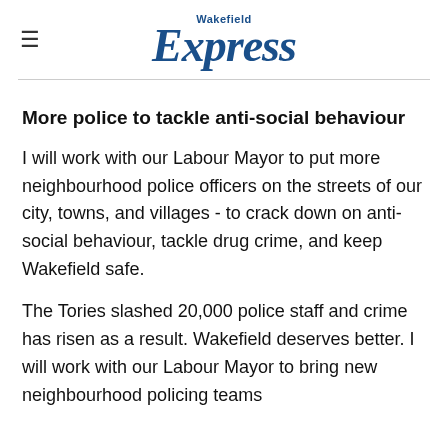Wakefield Express
More police to tackle anti-social behaviour
I will work with our Labour Mayor to put more neighbourhood police officers on the streets of our city, towns, and villages - to crack down on anti-social behaviour, tackle drug crime, and keep Wakefield safe.
The Tories slashed 20,000 police staff and crime has risen as a result. Wakefield deserves better. I will work with our Labour Mayor to bring new neighbourhood policing teams